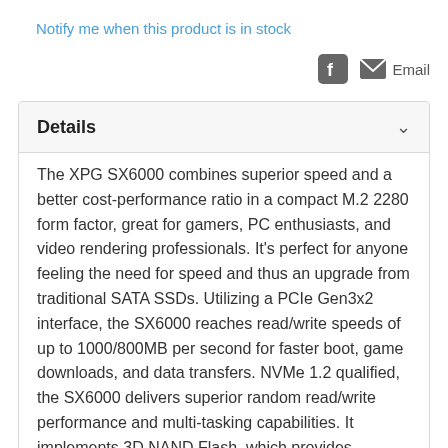Notify me when this product is in stock
Facebook icon | Email
Details
The XPG SX6000 combines superior speed and a better cost-performance ratio in a compact M.2 2280 form factor, great for gamers, PC enthusiasts, and video rendering professionals. It's perfect for anyone feeling the need for speed and thus an upgrade from traditional SATA SSDs. Utilizing a PCIe Gen3x2 interface, the SX6000 reaches read/write speeds of up to 1000/800MB per second for faster boot, game downloads, and data transfers. NVMe 1.2 qualified, the SX6000 delivers superior random read/write performance and multi-tasking capabilities. It implements 3D NAND Flash, which provides